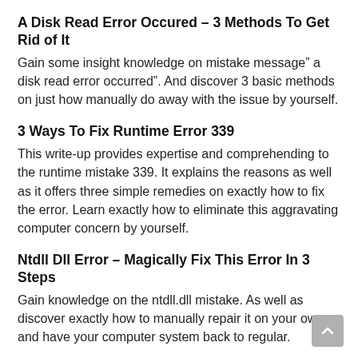A Disk Read Error Occured – 3 Methods To Get Rid of It
Gain some insight knowledge on mistake message” a disk read error occurred”. And discover 3 basic methods on just how manually do away with the issue by yourself.
3 Ways To Fix Runtime Error 339
This write-up provides expertise and comprehending to the runtime mistake 339. It explains the reasons as well as it offers three simple remedies on exactly how to fix the error. Learn exactly how to eliminate this aggravating computer concern by yourself.
Ntdll Dll Error – Magically Fix This Error In 3 Steps
Gain knowledge on the ntdll.dll mistake. As well as discover exactly how to manually repair it on your own and have your computer system back to regular.